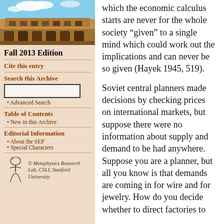[Figure (photo): Aerial or ground-level photo of a stone university building (sandstone Gothic architecture) with blue sky and clouds]
Fall 2013 Edition
Cite this entry
Search this Archive
Advanced Search
Table of Contents
New in this Archive
Editorial Information
About the SEP
Special Characters
© Metaphysics Research Lab, CSLI, Stanford University
which the economic calculus starts are never for the whole society “given” to a single mind which could work out the implications and can never be so given (Hayek 1945, 519).
Soviet central planners made decisions by checking prices on international markets, but suppose there were no information about supply and demand to be had anywhere. Suppose you are a planner, but all you know is that demands are coming in for wire and for jewelry. How do you decide whether to direct factories to